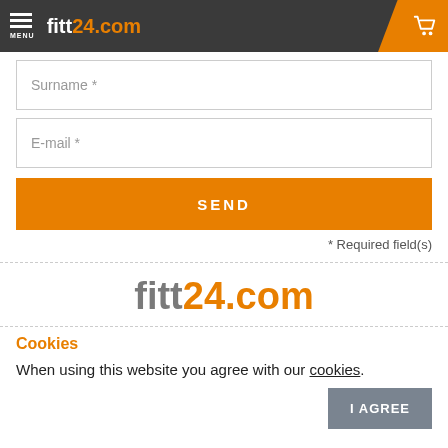fitt24.com — navigation bar with menu and cart
Surname *
E-mail *
SEND
* Required field(s)
[Figure (logo): fitt24.com logo centered in footer area]
Cookies
When using this website you agree with our cookies.
I AGREE